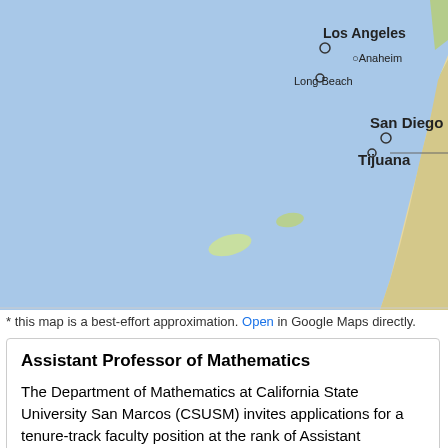[Figure (map): Map showing Southern California coastline including Los Angeles, Anaheim, Long Beach, San Diego, and Tijuana. The Pacific Ocean is shown in blue on the left side. City markers (circles) are shown for Long Beach and Tijuana. The map is a Google Maps style rendering.]
* this map is a best-effort approximation. Open in Google Maps directly.
Assistant Professor of Mathematics
The Department of Mathematics at California State University San Marcos (CSUSM) invites applications for a tenure-track faculty position at the rank of Assistant Professor. We seek candidates with the potential to engage in